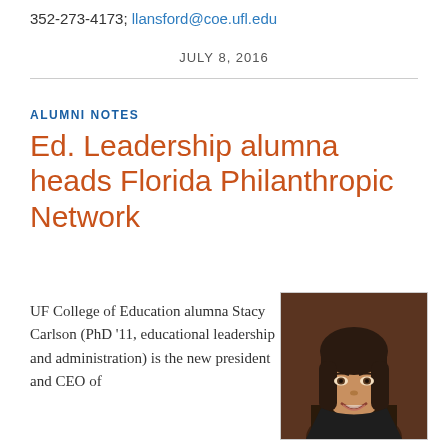352-273-4173; llansford@coe.ufl.edu
JULY 8, 2016
ALUMNI NOTES
Ed. Leadership alumna heads Florida Philanthropic Network
UF College of Education alumna Stacy Carlson (PhD '11, educational leadership and administration) is the new president and CEO of
[Figure (photo): Professional headshot of a woman with dark hair and bangs, smiling, wearing a dark jacket against a dark background]